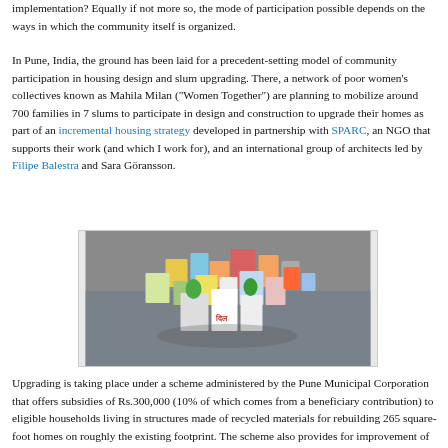implementation? Equally if not more so, the mode of participation possible depends on the ways in which the community itself is organized.
In Pune, India, the ground has been laid for a precedent-setting model of community participation in housing design and slum upgrading. There, a network of poor women's collectives known as Mahila Milan ("Women Together") are planning to mobilize around 700 families in 7 slums to participate in design and construction to upgrade their homes as part of an incremental housing strategy developed in partnership with SPARC, an NGO that supports their work (and which I work for), and an international group of architects led by Filipe Balestra and Sara Göransson.
[Figure (photo): A 3D architectural model showing colorful small buildings/houses arranged in a cluster, representing a slum upgrading design model. The model is displayed on a grey surface and shows multi-colored cube-like structures.]
Upgrading is taking place under a scheme administered by the Pune Municipal Corporation that offers subsidies of Rs.300,000 (10% of which comes from a beneficiary contribution) to eligible households living in structures made of recycled materials for rebuilding 265 square-foot homes on roughly the existing footprint. The scheme also provides for improvement of infrastructure, roads and basic amenities. (Using government subsidies to promote incremental upgrading at the settlement level and preservation of well-developed structures is itself a landmark move by the PMC, and came in part out of negotiations and collaborations